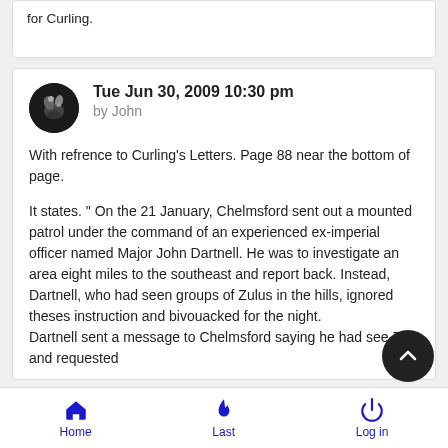for Curling.
Tue Jun 30, 2009 10:30 pm
by John
With refrence to Curling's Letters. Page 88 near the bottom of page.

It states. " On the 21 January, Chelmsford sent out a mounted patrol under the command of an experienced ex-imperial officer named Major John Dartnell. He was to investigate an area eight miles to the southeast and report back. Instead, Dartnell, who had seen groups of Zulus in the hills, ignored theses instruction and bivouacked for the night.
Dartnell sent a message to Chelmsford saying he had see Z and requested
Home  Last  Log in